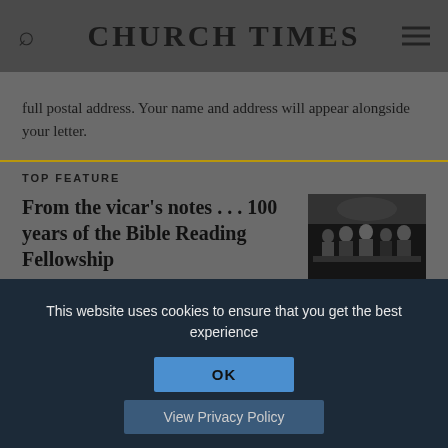CHURCH TIMES
full postal address. Your name and address will appear alongside your letter.
TOP FEATURE
From the vicar's notes . . . 100 years of the Bible Reading Fellowship
From a hand-typed sheet to a worldwide ministry, Rebecca Paveley traces a century of the BRF
[Figure (photo): Black and white photograph of a group of people at a formal gathering or ceremony]
This website uses cookies to ensure that you get the best experience
OK
View Privacy Policy